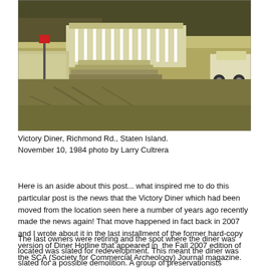[Figure (photo): Vintage sepia-toned photograph of Victory Diner on Richmond Rd., Staten Island, showing the exterior of the diner building with steps, a parked white car on the right, and a dirt/gravel parking area in the foreground. Trees visible in the background.]
Victory Diner, Richmond Rd., Staten Island.
November 10, 1984 photo by Larry Cultrera
Here is an aside about this post... what inspired me to do this particular post is the news that the Victory Diner which had been moved from the location seen here a number of years ago recently made the news again! That move happened in fact back in 2007 and I wrote about it in the last installment of the former hard-copy version of Diner Hotline that appeared in the Fall 2007 edition of the SCA (Society for Commercial Archeology) Journal magazine.
The last owners were retiring and the spot where the diner was located was slated for redevelopment. This meant the diner was slated for a possible demolition. A group of preservationists stepped in before this could happen and had the diner relocated to the Ocean Breeze